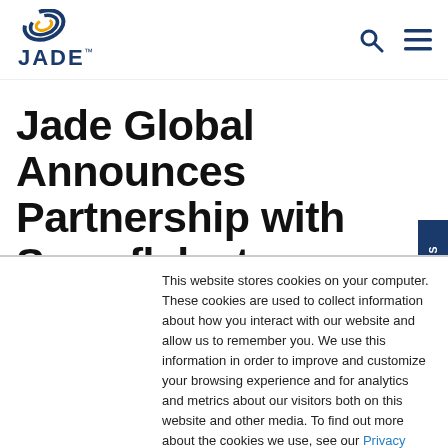[Figure (logo): Jade Global logo with circular wave icon above text 'JADE' in blue with trademark symbol]
JADE™ [search icon] [menu icon]
Jade Global Announces Partnership with Snowflake to Deliver Integrated
This website stores cookies on your computer. These cookies are used to collect information about how you interact with our website and allow us to remember you. We use this information in order to improve and customize your browsing experience and for analytics and metrics about our visitors both on this website and other media. To find out more about the cookies we use, see our Privacy Policy
Accept